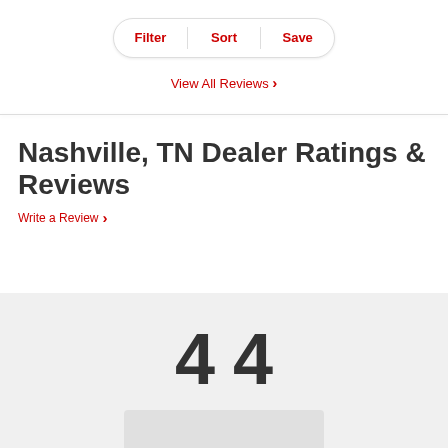[Figure (screenshot): Filter, Sort, Save button bar with rounded pill shape and red text labels]
View All Reviews >
Nashville, TN Dealer Ratings & Reviews
Write a Review >
4  4